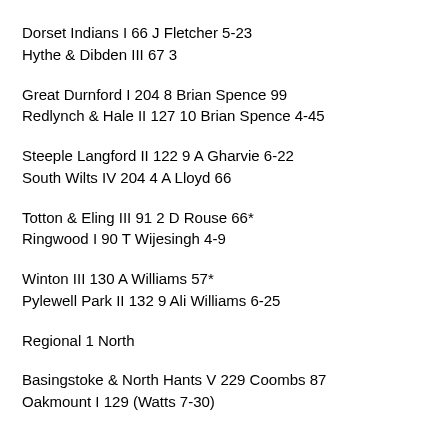Dorset Indians I 66  J Fletcher 5-23
Hythe & Dibden III 67 3
Great Durnford I 204 8 Brian Spence 99
Redlynch & Hale II 127 10 Brian Spence 4-45
Steeple Langford II 122 9 A Gharvie 6-22
South Wilts IV 204 4 A Lloyd 66
Totton & Eling III 91 2 D Rouse 66*
Ringwood I 90  T Wijesingh 4-9
Winton III 130 A Williams 57*
Pylewell Park II 132 9 Ali Williams 6-25
Regional 1 North
Basingstoke & North Hants V 229  Coombs 87
Oakmount I 129 (Watts 7-30)